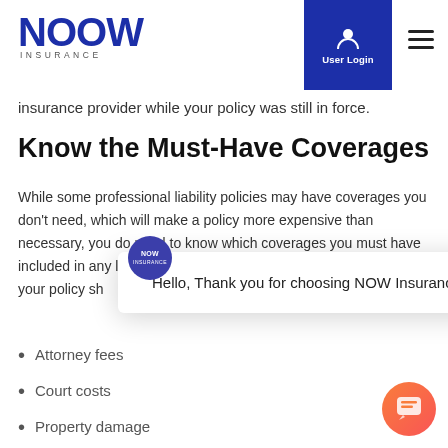NOW INSURANCE | User Login
insurance provider while your policy was still in force.
Know the Must-Have Coverages
While some professional liability policies may have coverages you don't need, which will make a policy more expensive than necessary, you do need to know which coverages you must have included in any liability insurance policy you purchase. At a minimum, your policy sh... and situations:
Attorney fees
Court costs
Property damage